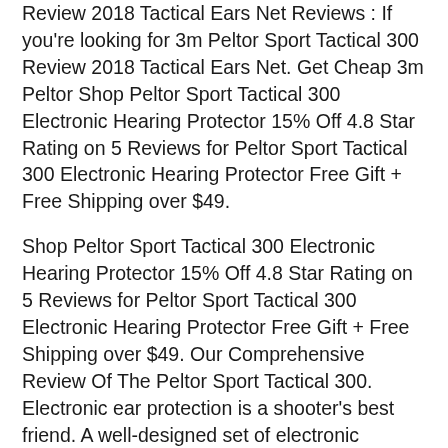Review 2018 Tactical Ears Net Reviews : If you're looking for 3m Peltor Sport Tactical 300 Review 2018 Tactical Ears Net. Get Cheap 3m Peltor Shop Peltor Sport Tactical 300 Electronic Hearing Protector 15% Off 4.8 Star Rating on 5 Reviews for Peltor Sport Tactical 300 Electronic Hearing Protector Free Gift + Free Shipping over $49.
Shop Peltor Sport Tactical 300 Electronic Hearing Protector 15% Off 4.8 Star Rating on 5 Reviews for Peltor Sport Tactical 300 Electronic Hearing Protector Free Gift + Free Shipping over $49. Our Comprehensive Review Of The Peltor Sport Tactical 300. Electronic ear protection is a shooter's best friend. A well-designed set of electronic earmuffs lets you maintain situational